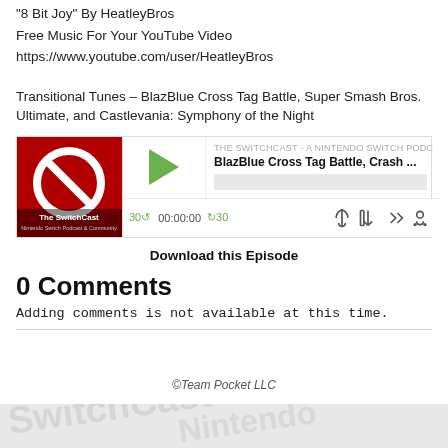"8 Bit Joy" By HeatleyBros
Free Music For Your YouTube Video
https://www.youtube.com/user/HeatleyBros
Transitional Tunes – BlazBlue Cross Tag Battle, Super Smash Bros. Ultimate, and Castlevania: Symphony of the Night
[Figure (screenshot): Podcast player widget for 'The SwitchCast - A Nintendo Switch Podcast' showing episode 'BlazBlue Cross Tag Battle, Crash ...' with play button, progress bar, and playback controls showing 00:00:00 time, 30-second skip buttons.]
Download this Episode
0 Comments
Adding comments is not available at this time.
©Team Pocket LLC